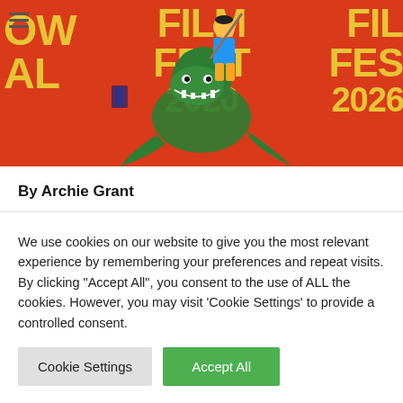[Figure (illustration): Glasgow Film Festival 2020 banner with red background, large yellow bold text reading 'GLASGOW FILM FESTIVAL 2020' and an illustrated figure of a person in traditional Korean attire riding/fighting a green serpent/dragon creature, with film reels and decorative elements.]
By Archie Grant
We use cookies on our website to give you the most relevant experience by remembering your preferences and repeat visits. By clicking "Accept All", you consent to the use of ALL the cookies. However, you may visit 'Cookie Settings' to provide a controlled consent.